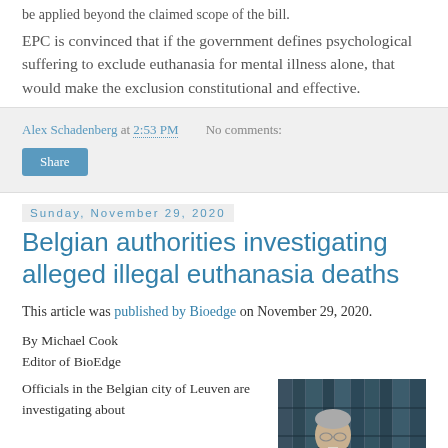be applied beyond the claimed scope of the bill.
EPC is convinced that if the government defines psychological suffering to exclude euthanasia for mental illness alone, that would make the exclusion constitutional and effective.
Alex Schadenberg at 2:53 PM   No comments:
Share
Sunday, November 29, 2020
Belgian authorities investigating alleged illegal euthanasia deaths
This article was published by Bioedge on November 29, 2020.
By Michael Cook
Editor of BioEdge
Officials in the Belgian city of Leuven are investigating about
[Figure (photo): A man with grey hair, photographed in front of a bookshelf with dark-colored books.]